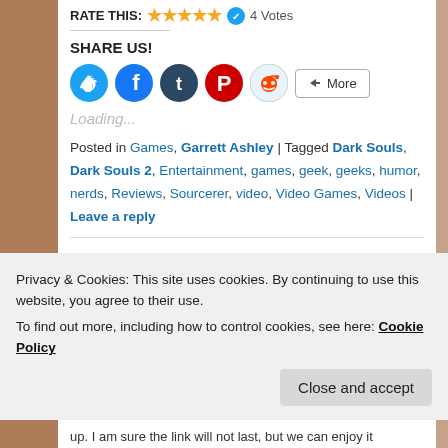RATE THIS: ★★★★★ ☉ 4 Votes
SHARE US!
[Figure (other): Social sharing buttons: Twitter (blue circle), Facebook (blue circle), Tumblr (dark blue circle), Pinterest (red circle), Reddit (light blue circle), and a More button]
Loading...
Posted in Games, Garrett Ashley | Tagged Dark Souls, Dark Souls 2, Entertainment, games, geek, geeks, humor, nerds, Reviews, Sourcerer, video, Video Games, Videos | Leave a reply
Privacy & Cookies: This site uses cookies. By continuing to use this website, you agree to their use.
To find out more, including how to control cookies, see here: Cookie Policy
Close and accept
up. I am sure the link will not last, but we can enjoy it